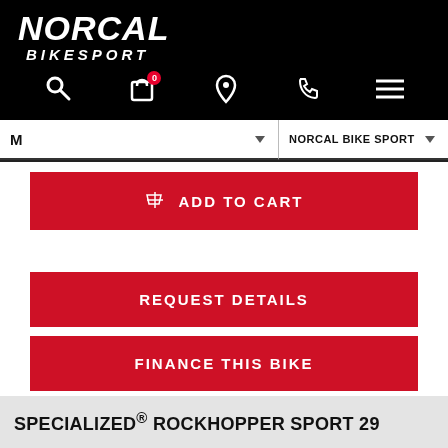NorCal BikeSport
M  ▾   NORCAL BIKE SPORT  ▾
$ ADD TO CART
REQUEST DETAILS
FINANCE THIS BIKE
(707) 573-0112
SPECIALIZED® ROCKHOPPER SPORT 29